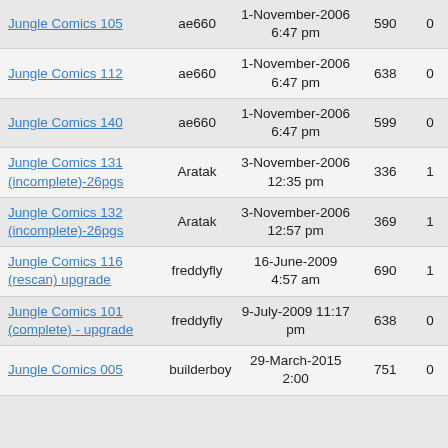| Title | Uploader | Date | Views | Replies |
| --- | --- | --- | --- | --- |
| Jungle Comics 105 | ae660 | 1-November-2006 6:47 pm | 590 | 0 |
| Jungle Comics 112 | ae660 | 1-November-2006 6:47 pm | 638 | 0 |
| Jungle Comics 140 | ae660 | 1-November-2006 6:47 pm | 599 | 0 |
| Jungle Comics 131 (incomplete)-26pgs | Aratak | 3-November-2006 12:35 pm | 336 | 1 |
| Jungle Comics 132 (incomplete)-26pgs | Aratak | 3-November-2006 12:57 pm | 369 | 1 |
| Jungle Comics 116 (rescan) upgrade | freddyfly | 16-June-2009 4:57 am | 690 | 1 |
| Jungle Comics 101 (complete) - upgrade | freddyfly | 9-July-2009 11:17 pm | 638 | 0 |
| Jungle Comics 005 (incomplete) | builderboy | 29-March-2015 2:00 | 751 | 0 |